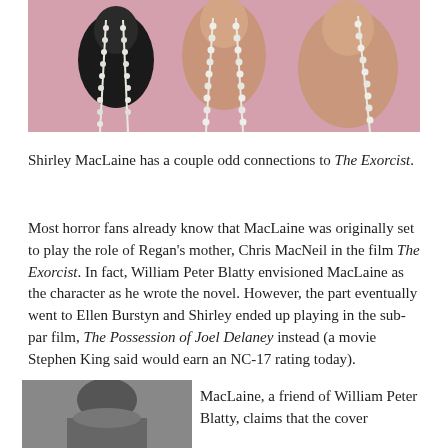[Figure (photo): Color photograph of three figures on a pink background, adorned with pearl necklaces. Left figure has dark face paint and gothic makeup, center figure appears to be a light-skinned person, right figure is bare-shouldered.]
Shirley MacLaine has a couple odd connections to The Exorcist.
Most horror fans already know that MacLaine was originally set to play the role of Regan's mother, Chris MacNeil in the film The Exorcist. In fact, William Peter Blatty envisioned MacLaine as the character as he wrote the novel. However, the part eventually went to Ellen Burstyn and Shirley ended up playing in the sub-par film, The Possession of Joel Delaney instead (a movie Stephen King said would earn an NC-17 rating today).
[Figure (photo): Black and white photograph showing a person with short dark hair, cropped at bottom of page.]
MacLaine, a friend of William Peter Blatty, claims that the cover